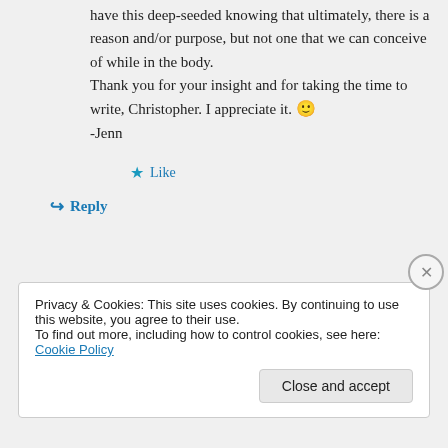have this deep-seeded knowing that ultimately, there is a reason and/or purpose, but not one that we can conceive of while in the body. Thank you for your insight and for taking the time to write, Christopher. I appreciate it. 🙂 -Jenn
★ Like
↪ Reply
Privacy & Cookies: This site uses cookies. By continuing to use this website, you agree to their use. To find out more, including how to control cookies, see here: Cookie Policy
Close and accept